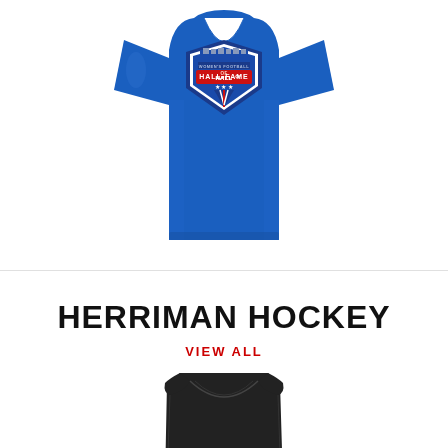[Figure (photo): Blue v-neck t-shirt with a Women's Football Hall of Fame shield logo on the chest, displayed on a white background.]
HERRIMAN HOCKEY
VIEW ALL
[Figure (photo): Black sleeveless tank top/bodysuit shown from behind, displayed on a white background, partially cropped at bottom of page.]